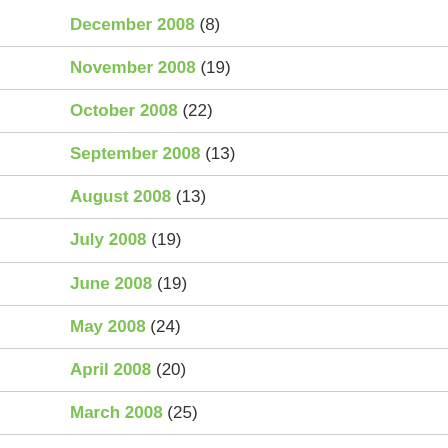December 2008 (8)
November 2008 (19)
October 2008 (22)
September 2008 (13)
August 2008 (13)
July 2008 (19)
June 2008 (19)
May 2008 (24)
April 2008 (20)
March 2008 (25)